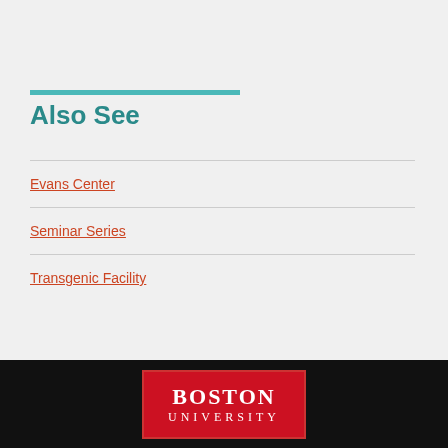Also See
Evans Center
Seminar Series
Transgenic Facility
[Figure (logo): Boston University red logo with white text reading BOSTON UNIVERSITY]